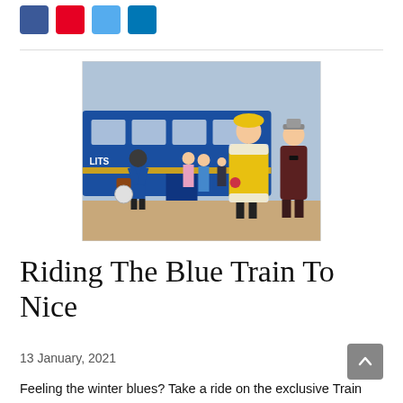[Figure (illustration): Vintage illustration of passengers arriving at or departing from the Train Bleu (Le Train Bleu), showing a woman in a yellow fur-trimmed coat and yellow hat, a man in a suit and hat, a porter in blue uniform carrying luggage, and other travelers in front of a blue Wagons-Lits railway car.]
Riding The Blue Train To Nice
13 January, 2021
Feeling the winter blues? Take a ride on the exclusive Train Bleu,